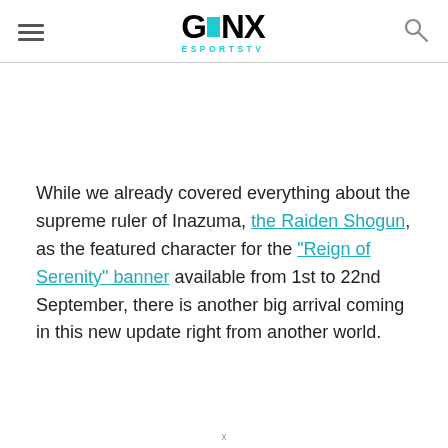GINX ESPORTSTV
While we already covered everything about the supreme ruler of Inazuma, the Raiden Shogun, as the featured character for the “Reign of Serenity” banner available from 1st to 22nd September, there is another big arrival coming in this new update right from another world.